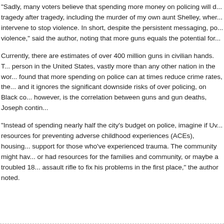"Sadly, many voters believe that spending more money on policing will d... tragedy after tragedy, including the murder of my own aunt Shelley, wher... intervene to stop violence. In short, despite the persistent messaging, po... violence," said the author, noting that more guns equals the potential for...
Currently, there are estimates of over 400 million guns in civilian hands. T... person in the United States, vastly more than any other nation in the wor... found that more spending on police can at times reduce crime rates, the... and it ignores the significant downside risks of over policing, on Black co... however, is the correlation between guns and gun deaths, Joseph contin...
"Instead of spending nearly half the city's budget on police, imagine if Uv... resources for preventing adverse childhood experiences (ACEs), housing... support for those who've experienced trauma. The community might hav... or had resources for the families and community, or maybe a troubled 18... assault rifle to fix his problems in the first place," the author noted.